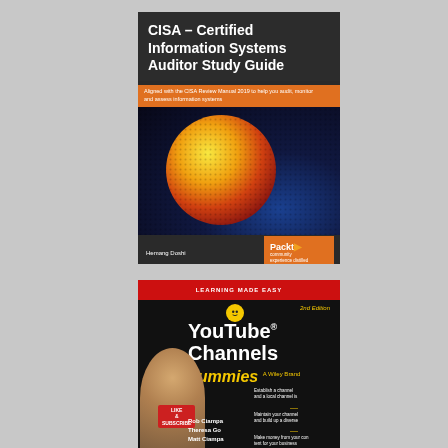[Figure (photo): Book cover: CISA – Certified Information Systems Auditor Study Guide by Hemang Doshi, published by Packt. Dark background with colorful sphere/globe image. Orange subtitle bar.]
[Figure (photo): Book cover: YouTube Channels for Dummies, 2nd Edition by Rob Ciampa, Theresa Go, Matt Ciampa. Black and red cover with yellow dummies logo text. Woman holding LIKE & SUBSCRIBE sign on left. Bullet points on right.]